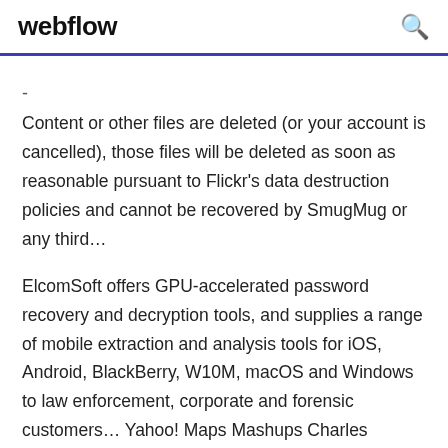webflow
- Content or other files are deleted (or your account is cancelled), those files will be deleted as soon as reasonable pursuant to Flickr's data destruction policies and cannot be recovered by SmugMug or any third...
ElcomSoft offers GPU-accelerated password recovery and decryption tools, and supplies a range of mobile extraction and analysis tools for iOS, Android, BlackBerry, W10M, macOS and Windows to law enforcement, corporate and forensic customers... Yahoo! Maps Mashups Charles Freedman Yahoo! Maps Mashups Yahoo! Maps Mashups Charles Freedman Yahoo! Maps